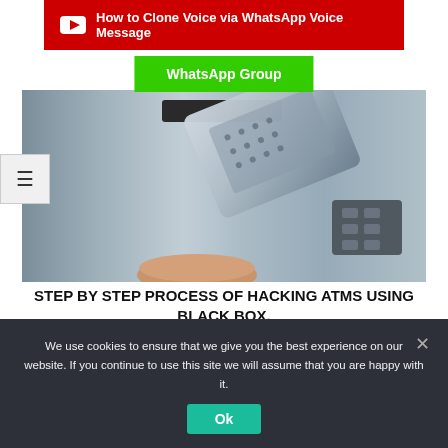[Figure (screenshot): Red YouTube banner with play icon and text 'How to Clone Voice via WhatsApp Voice Message']
[Figure (screenshot): Green WhatsApp Group button]
[Figure (photo): Photo of an ATM machine with a skimming device/black box attached to the card slot, with a hand reaching toward it]
STEP BY STEP PROCESS OF HACKING ATMS USING BLACK BOX. ATM JACKPOTTING
[Figure (infographic): Row of social media icons: Facebook, Twitter, YouTube, Telegram, Foursquare]
We use cookies to ensure that we give you the best experience on our website. If you continue to use this site we will assume that you are happy with it.